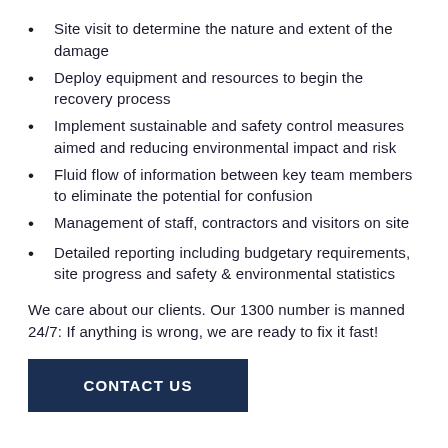Site visit to determine the nature and extent of the damage
Deploy equipment and resources to begin the recovery process
Implement sustainable and safety control measures aimed and reducing environmental impact and risk
Fluid flow of information between key team members to eliminate the potential for confusion
Management of staff, contractors and visitors on site
Detailed reporting including budgetary requirements, site progress and safety & environmental statistics
We care about our clients. Our 1300 number is manned 24/7: If anything is wrong, we are ready to fix it fast!
CONTACT US